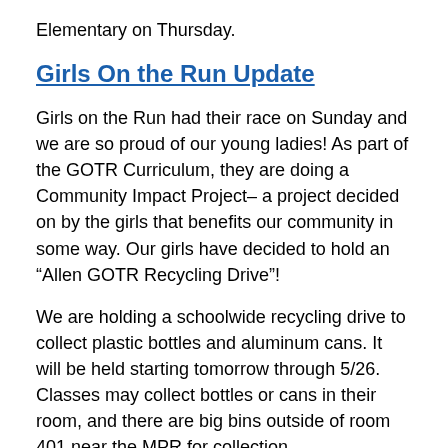Elementary on Thursday.
Girls On the Run Update
Girls on the Run had their race on Sunday and we are so proud of our young ladies! As part of the GOTR Curriculum, they are doing a Community Impact Project– a project decided on by the girls that benefits our community in some way. Our girls have decided to hold an “Allen GOTR Recycling Drive”!
We are holding a schoolwide recycling drive to collect plastic bottles and aluminum cans. It will be held starting tomorrow through 5/26. Classes may collect bottles or cans in their room, and there are big bins outside of room 401 near the MPR for collection.